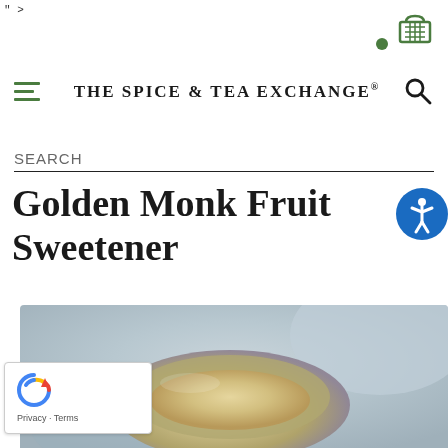" >
[Figure (screenshot): Shopping cart icon in green and accessibility button in blue circle]
THE SPICE & TEA EXCHANGE®
SEARCH
Golden Monk Fruit Sweetener
[Figure (photo): Close-up photo of golden monk fruit sweetener in a small grey bowl/spoon with a blurred background]
Privacy · Terms